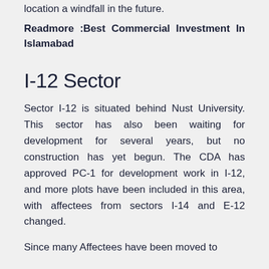location a windfall in the future.
Readmore :Best Commercial Investment In Islamabad
I-12 Sector
Sector I-12 is situated behind Nust University. This sector has also been waiting for development for several years, but no construction has yet begun. The CDA has approved PC-1 for development work in I-12, and more plots have been included in this area, with affectees from sectors I-14 and E-12 changed.
Since many Affectees have been moved to